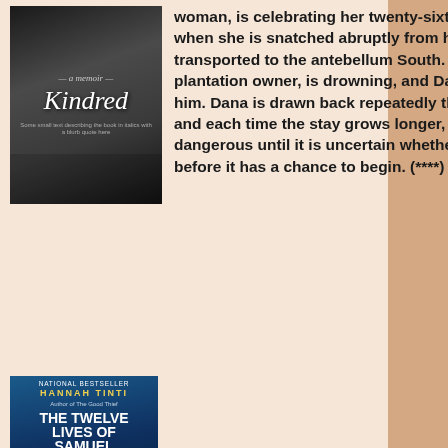woman, is celebrating her twenty-sixth birthday with her new husband when she is snatched abruptly from her home in California and transported to the antebellum South. Rufus, the white son of a plantation owner, is drowning, and Dana has been summoned to save him. Dana is drawn back repeatedly through time to the slave quarters, and each time the stay grows longer, more arduous, and more dangerous until it is uncertain whether or not Dana's life will end, long before it has a chance to begin. (****)
[Figure (photo): Book cover of 'Kindred' — dark monochrome image with the title in italic serif font]
[Figure (photo): Book cover of 'The Twelve Lives of Samuel Hawley' by Hannah Tinti — dark blue cover with bold uppercase title text and silhouetted figures at bottom]
Hannah Tinti: The Twelve Lives of Samuel Hawley: A Novel
Hawley has been on the run for decades. He's had various side-kicks – his con-man partner Jove,